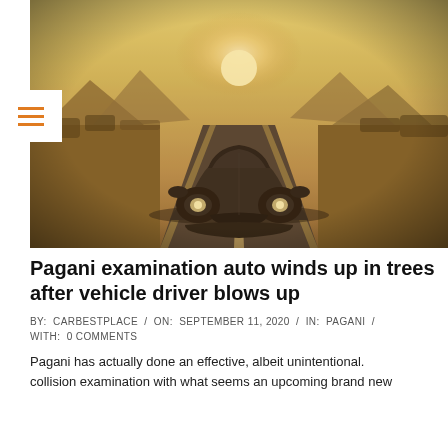[Figure (photo): Front view of a dark Pagani supercar on an empty desert road at sunset with mountains in background]
Pagani examination auto winds up in trees after vehicle driver blows up
BY: CARBESTPLACE / ON: SEPTEMBER 11, 2020 / IN: PAGANI / WITH: 0 COMMENTS
Pagani has actually done an effective, albeit unintentional. collision examination with what seems an upcoming brand new...